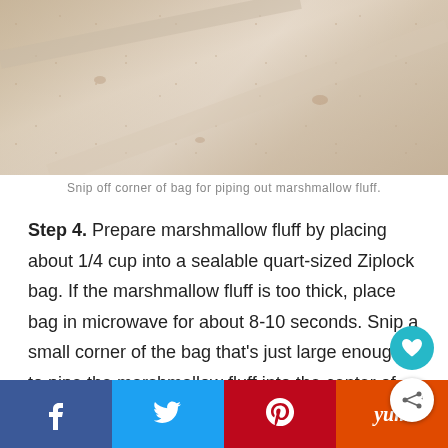[Figure (photo): Close-up photo of a light-colored textured surface, likely parchment or wax paper with a marshmallow fluff bag corner visible]
Snip off corner of bag for piping out marshmallow fluff.
Step 4. Prepare marshmallow fluff by placing about 1/4 cup into a sealable quart-sized Ziplock bag. If the marshmallow fluff is too thick, place bag in microwave for about 8-10 seconds. Snip a small corner of the bag that's just large enough to pipe the marshmallow fluff into the center of the cored strawberries. Set aside.
Facebook | Twitter | Pinterest | Yummly